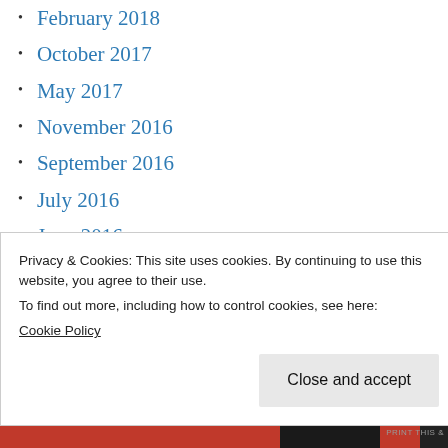February 2018
October 2017
May 2017
November 2016
September 2016
July 2016
June 2016
May 2016
April 2016
December 2015
July 2015
Privacy & Cookies: This site uses cookies. By continuing to use this website, you agree to their use.
To find out more, including how to control cookies, see here:
Cookie Policy
Close and accept